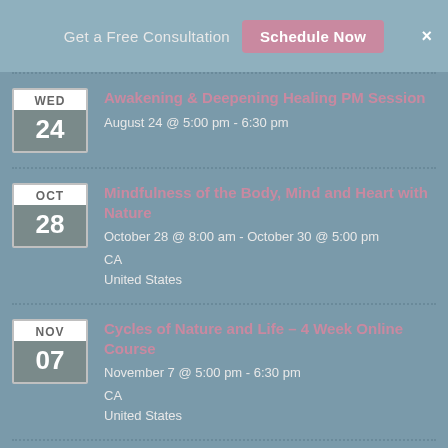Get a Free Consultation   Schedule Now   ×
WED 24 | Awakening & Deepening Healing PM Session | August 24 @ 5:00 pm - 6:30 pm
OCT 28 | Mindfulness of the Body, Mind and Heart with Nature | October 28 @ 8:00 am - October 30 @ 5:00 pm | CA | United States
NOV 07 | Cycles of Nature and Life – 4 Week Online Course | November 7 @ 5:00 pm - 6:30 pm | CA | United States
View More...